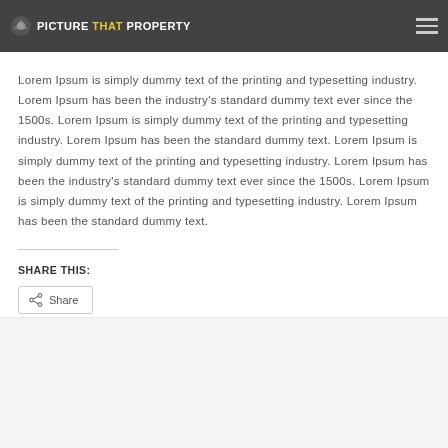PICTURE THAT PROPERTY
Lorem Ipsum is simply dummy text of the printing and typesetting industry. Lorem Ipsum has been the industry's standard dummy text ever since the 1500s. Lorem Ipsum is simply dummy text of the printing and typesetting industry. Lorem Ipsum has been the standard dummy text. Lorem Ipsum is simply dummy text of the printing and typesetting industry. Lorem Ipsum has been the industry's standard dummy text ever since the 1500s. Lorem Ipsum is simply dummy text of the printing and typesetting industry. Lorem Ipsum has been the standard dummy text.
SHARE THIS:
Share